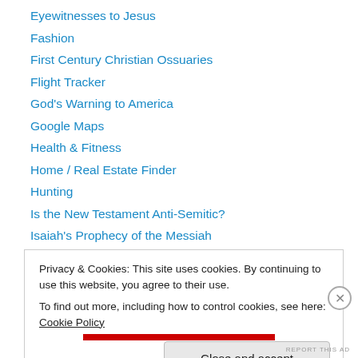Eyewitnesses to Jesus
Fashion
First Century Christian Ossuaries
Flight Tracker
God's Warning to America
Google Maps
Health & Fitness
Home / Real Estate Finder
Hunting
Is the New Testament Anti-Semitic?
Isaiah's Prophecy of the Messiah
Jesus and first century historians
Jesus Cited in the Acts of Pontius Pilate
Privacy & Cookies: This site uses cookies. By continuing to use this website, you agree to their use. To find out more, including how to control cookies, see here: Cookie Policy
Close and accept